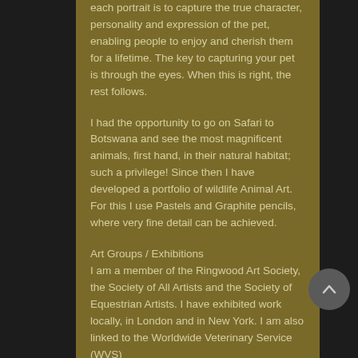each portrait is to capture the true character, personality and expression of the pet, enabling people to enjoy and cherish them for a lifetime. The key to capturing your pet is through the eyes. When this is right, the rest follows.
I had the opportunity to go on Safari to Botswana and see the most magnificent animals, first hand, in their natural habitat; such a privilege! Since then I have developed a portfolio of wildlife Animal Art. For this I use Pastels and Graphite pencils, where very fine detail can be achieved.
Art Groups / Exhibitions
I am a member of the Ringwood Art Society, the Society of All Artists and the Society of Equestrian Artists. I have exhibited work locally, in London and in New York. I am also linked to the Worldwide Veterinary Service (WVS)